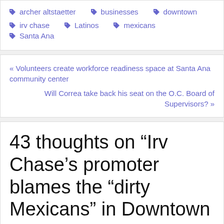archer altstaetter  businesses  downtown  irv chase  Latinos  mexicans  Santa Ana
« Volunteers create workforce readiness space at Santa Ana community center
Will Correa take back his seat on the O.C. Board of Supervisors? »
43 thoughts on “Irv Chase’s promoter blames the “dirty Mexicans” in Downtown Santa Ana”